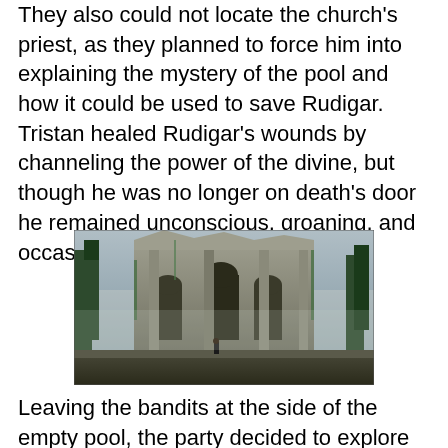They also could not locate the church's priest, as they planned to force him into explaining the mystery of the pool and how it could be used to save Rudigar. Tristan healed Rudigar's wounds by channeling the power of the divine, but though he was no longer on death's door he remained unconscious, groaning, and occasionally writhing.
[Figure (illustration): Fantasy illustration of ancient stone ruins of a large cathedral or temple, overgrown with vegetation, with a small dark-cloaked figure standing at the base looking up at the crumbling archways and columns. Misty, atmospheric lighting.]
Leaving the bandits at the side of the empty pool, the party decided to explore the rest of the church in hopes of finding the priest. (Luka kept calling out to